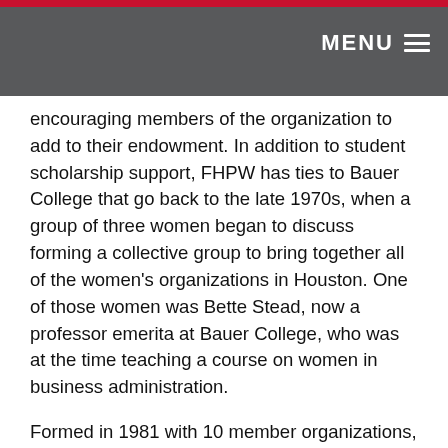MENU
encouraging members of the organization to add to their endowment. In addition to student scholarship support, FHPW has ties to Bauer College that go back to the late 1970s, when a group of three women began to discuss forming a collective group to bring together all of the women's organizations in Houston. One of those women was Bette Stead, now a professor emerita at Bauer College, who was at the time teaching a course on women in business administration.
Formed in 1981 with 10 member organizations, the FHPW now includes more than 45 professional women's groups in its membership roster. The organization serves as a way to connect women in Houston and the surrounding areas, with an emphasis on advancing educational and professional development opportunities.